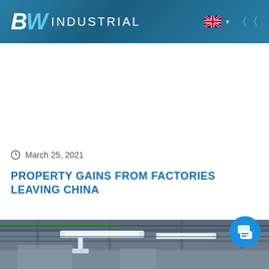BW INDUSTRIAL
March 25, 2021
PROPERTY GAINS FROM FACTORIES LEAVING CHINA
[Figure (photo): Interior of an industrial factory showing ceiling structure with lighting fixtures and equipment]